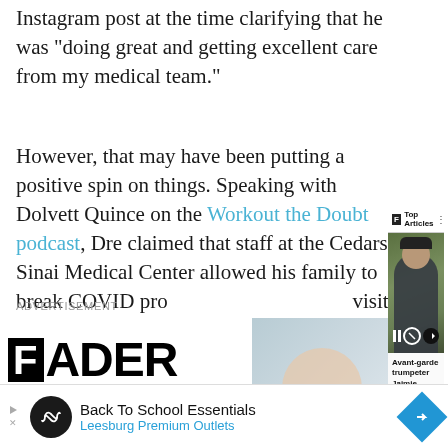Instagram post at the time clarifying that he was “doing great and getting excellent care from my medical team.”
However, that may have been putting a positive spin on things. Speaking with Dolvett Quince on the Workout the Doubt podcast, Dre claimed that staff at the Cedars-Sinai Medical Center allowed his family to break COVID protocols at the time and visit him in his room, meaning his family didn’t get another oppor...
ADVERTISEMENT
[Figure (screenshot): The FADER logo advertisement banner with a woman holding a trumpet, and a Top Articles overlay popup showing 'Avant-garde trumpeter Jaimie branch dies at 39']
[Figure (screenshot): Bottom advertisement strip: Back To School Essentials - Leesburg Premium Outlets]